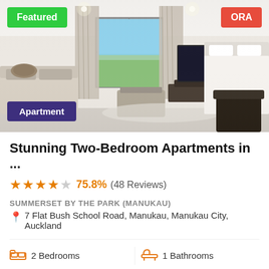[Figure (photo): Interior photo of a modern two-bedroom apartment showing a bright living room with sofa, ottoman, TV unit, large window with curtains, and a glimpse of a neatly made bed. Labeled 'Featured' in green top-left, 'ORA' in red top-right, and 'Apartment' in purple bottom-left.]
Stunning Two-Bedroom Apartments in ...
★★★★☆ 75.8%  (48 Reviews)
SUMMERSET BY THE PARK (MANUKAU)
📍 7 Flat Bush School Road, Manukau, Manukau City, Auckland
🛏 2 Bedrooms    🛁 1 Bathrooms